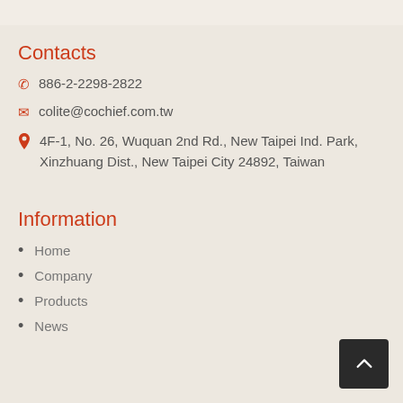Contacts
886-2-2298-2822
colite@cochief.com.tw
4F-1, No. 26, Wuquan 2nd Rd., New Taipei Ind. Park, Xinzhuang Dist., New Taipei City 24892, Taiwan
Information
Home
Company
Products
News